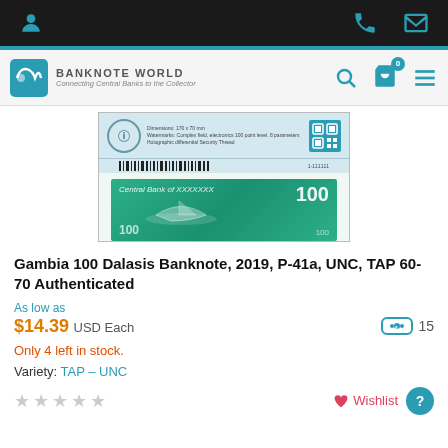Banknote World — Connecting Central Banks to the Collector
[Figure (photo): Photo of a Gambia 100 Dalasis banknote in a TAP authentication sleeve, green color scheme with '100' denomination visible]
Gambia 100 Dalasis Banknote, 2019, P-41a, UNC, TAP 60-70 Authenticated
As low as
$14.39 USD Each   15
Only 4 left in stock.
Variety: TAP – UNC
☆☆☆☆☆   ♡ Wishlist